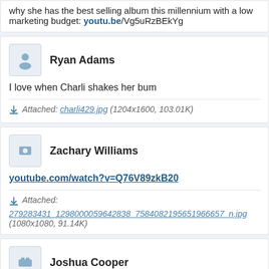why she has the best selling album this millennium with a low marketing budget: youtu.be/Vg5uRzBEkYg
Ryan Adams
I love when Charli shakes her bum
Attached: charli429.jpg (1204x1600, 103.01K)
Zachary Williams
youtube.com/watch?v=Q76V89zkB20
Attached: 279283431_1298000059642838_7584082195651966657_n.jpg (1080x1080, 91.14K)
Joshua Cooper
charli got her bottom in the air